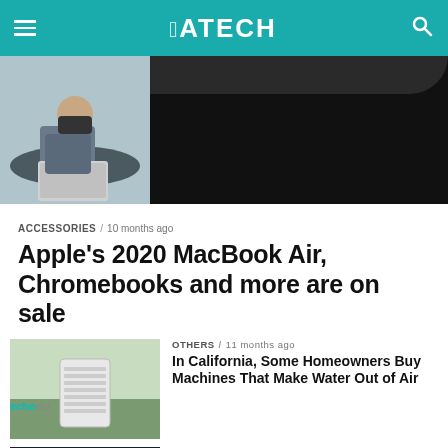JATECH
[Figure (photo): Hero image: person with mask using a MacBook at an outdoor table; right side shows dark/blurred background]
ACCESSORIES / 10 months ago
Apple’s 2020 MacBook Air, Chromebooks and more are on sale
[Figure (photo): Thumbnail: white air-to-water machine appliance outdoors]
OTHERS / 11 months ago
In California, Some Homeowners Buy Machines That Make Water Out of Air
[Figure (photo): Thumbnail: dark smartphone screen with Echo auto device and echoaut branding]
OTHERS / 11 months ago
Amazon Great Indian Festival 2021 Sale: Best Deals, Offers on Car Air...